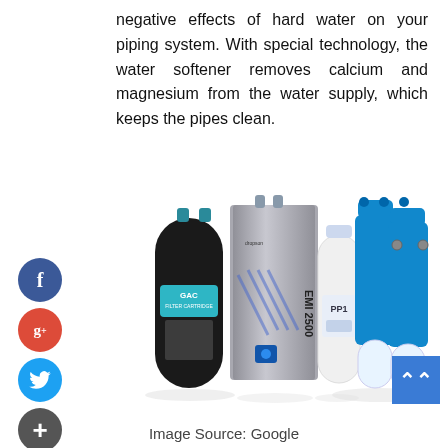negative effects of hard water on your piping system. With special technology, the water softener removes calcium and magnesium from the water supply, which keeps the pipes clean.
[Figure (photo): Water filtration and softening product set: a black GAC filter canister, a silver EMI 2500 electronic water conditioner unit with blue diagonal stripes, a white PP1 filter cartridge, and two blue-topped clear filter housings, all arranged on a white background.]
Image Source: Google